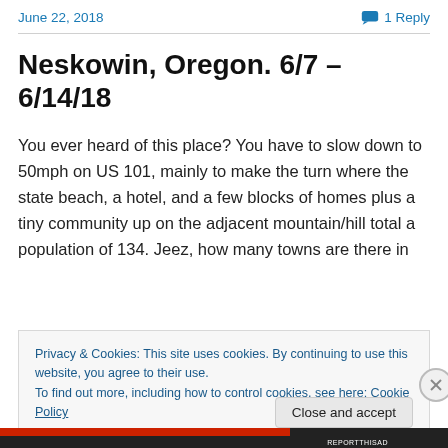June 22, 2018    1 Reply
Neskowin, Oregon. 6/7 – 6/14/18
You ever heard of this place? You have to slow down to 50mph on US 101, mainly to make the turn where the state beach, a hotel, and a few blocks of homes plus a tiny community up on the adjacent mountain/hill total a population of 134. Jeez, how many towns are there in
Privacy & Cookies: This site uses cookies. By continuing to use this website, you agree to their use.
To find out more, including how to control cookies, see here: Cookie Policy
Close and accept